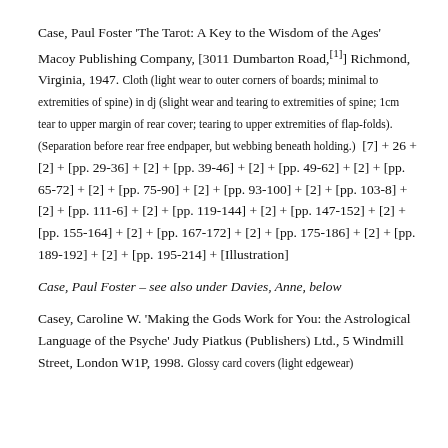Case, Paul Foster 'The Tarot: A Key to the Wisdom of the Ages' Macoy Publishing Company, [3011 Dumbarton Road,[1] Richmond, Virginia, 1947. Cloth (light wear to outer corners of boards; minimal to extremities of spine) in dj (slight wear and tearing to extremities of spine; 1cm tear to upper margin of rear cover; tearing to upper extremities of flap-folds). (Separation before rear free endpaper, but webbing beneath holding.) [7] + 26 + [2] + [pp. 29-36] + [2] + [pp. 39-46] + [2] + [pp. 49-62] + [2] + [pp. 65-72] + [2] + [pp. 75-90] + [2] + [pp. 93-100] + [2] + [pp. 103-8] + [2] + [pp. 111-6] + [2] + [pp. 119-144] + [2] + [pp. 147-152] + [2] + [pp. 155-164] + [2] + [pp. 167-172] + [2] + [pp. 175-186] + [2] + [pp. 189-192] + [2] + [pp. 195-214] + [Illustration]
Case, Paul Foster – see also under Davies, Anne, below
Casey, Caroline W. 'Making the Gods Work for You: the Astrological Language of the Psyche' Judy Piatkus (Publishers) Ltd., 5 Windmill Street, London W1P, 1998. Glossy card covers (light edgewear)